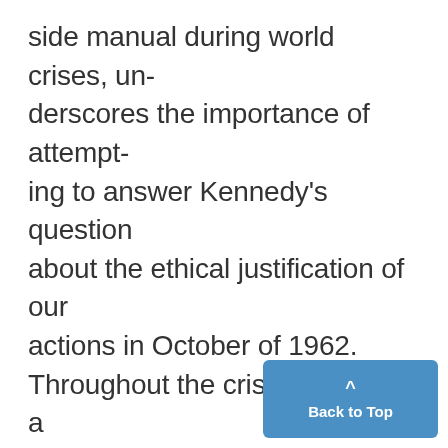side manual during world crises, underscores the importance of attempting to answer Kennedy's question about the ethical justification of our actions in October of 1962. Throughout the crisis there was a definite danger of war with the Soviet Union. Sorenson in his own 1965 memoir. Kennedy quotes the late President' as commenting retrospectively that the odds on whether we would go to war seemed "somewhat between one in three and even." The important question was wh...